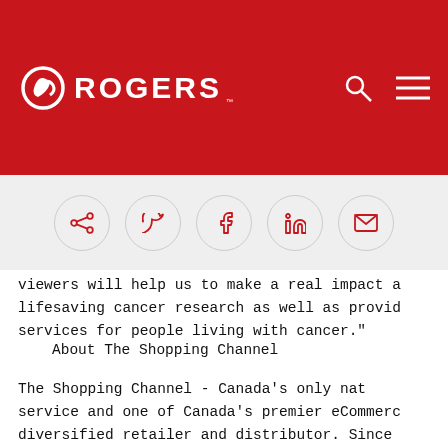ROGERS
[Figure (other): Social sharing icons row: share, Twitter, Facebook, LinkedIn, email — each in a light gray circle with red icons]
viewers will help us to make a real impact a lifesaving cancer research as well as provid services for people living with cancer."
About The Shopping Channel
The Shopping Channel - Canada's only nat service and one of Canada's premier eCommerc diversified retailer and distributor. Since Channel's initial television shopping channe